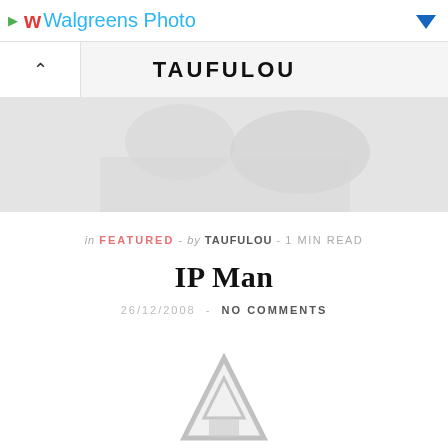Walgreens Photo
TAUFULOU
[Figure (photo): Hero banner image with faded silhouette background, light gray gradient]
in FEATURED - by TAUFULOU - 1 MIN READ
IP Man
26/12/2008 - NO COMMENTS
[Figure (logo): Navigation/app logo icon — triangular arrow shape in light gray at bottom of page]